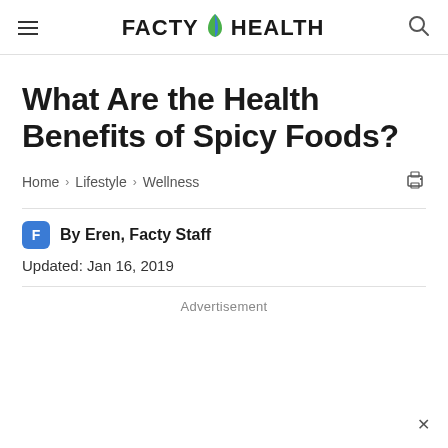FACTY HEALTH
What Are the Health Benefits of Spicy Foods?
Home > Lifestyle > Wellness
By Eren, Facty Staff
Updated: Jan 16, 2019
Advertisement